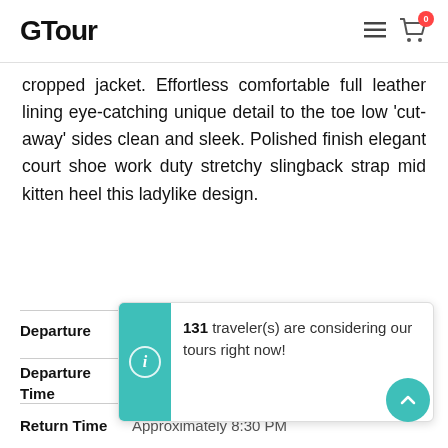GTour
cropped jacket. Effortless comfortable full leather lining eye-catching unique detail to the toe low 'cut-away' sides clean and sleek. Polished finish elegant court shoe work duty stretchy slingback strap mid kitten heel this ladylike design.
| Field | Value |
| --- | --- |
| Departure | San Francisco International Airport |
| Departure Time | Please arrive 10:20 AM for a prompt departure at 10:30 AM |
| Return Time | Approximately 8:30 PM |
131 traveler(s) are considering our tours right now!